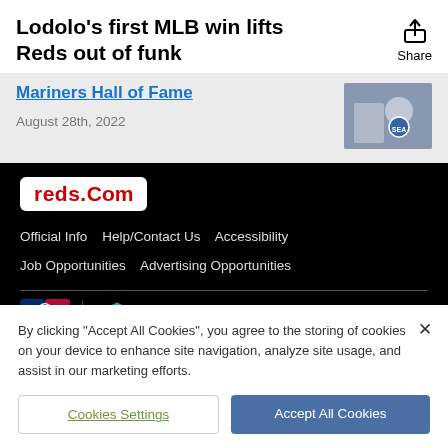Lodolo's first MLB win lifts Reds out of funk
Mariners Hall of Fame
August 28th, 2022
[Figure (photo): Press conference photo with Mariners logo visible]
[Figure (logo): reds.Com logo in red and white on black background]
Official Info   Help/Contact Us   Accessibility   Job Opportunities   Advertising Opportunities
[Figure (logo): MLB logo (silhouette batter) and Boys & Girls Clubs logo]
By clicking "Accept All Cookies", you agree to the storing of cookies on your device to enhance site navigation, analyze site usage, and assist in our marketing efforts.
Cookies Settings
Accept All Cookies